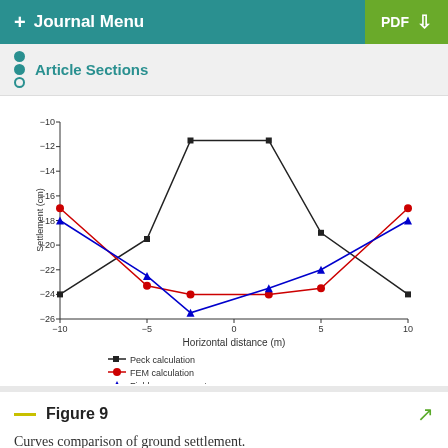+ Journal Menu   PDF ↓
Article Sections
[Figure (line-chart): ]
Figure 9
Curves comparison of ground settlement.